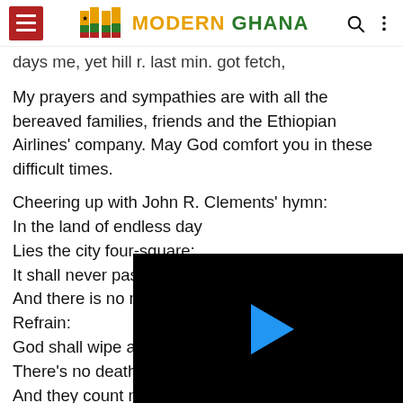Modern Ghana
days me, yet hill r. last min. got fetch,
My prayers and sympathies are with all the bereaved families, friends and the Ethiopian Airlines' company. May God comfort you in these difficult times.
Cheering up with John R. Clements' hymn:
In the land of endless day
Lies the city four-square;
It shall never pass away
And there is no n
Refrain:
God shall wipe a
There's no death
And they count n
For there is no n
[Figure (other): Black video player overlay with blue play button triangle]